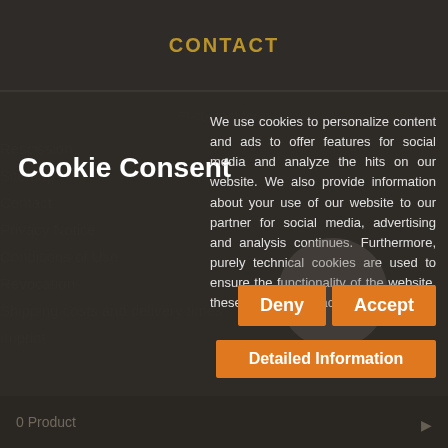CONTACT
contact form
Cookie Consent
We use cookies to personalize content and ads to offer features for social media and analyze the hits on our website. We also provide information about your use of our website to our partner for social media, advertising and analysis continues. Furthermore, purely technical cookies are used to ensure the functionality of the website, these cannot be deactivated.
Rescission
Sitemap
Contact
Privacy Notice
Conditions of Use
Revocation
Shipping costs and delivery times
Imprint
Deny
Accept
Detailed Information
0 Product